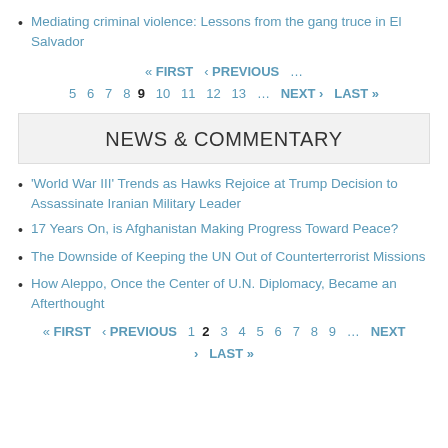Mediating criminal violence: Lessons from the gang truce in El Salvador
« FIRST ‹ PREVIOUS … 5 6 7 8 9 10 11 12 13 … NEXT › LAST »
NEWS & COMMENTARY
'World War III' Trends as Hawks Rejoice at Trump Decision to Assassinate Iranian Military Leader
17 Years On, is Afghanistan Making Progress Toward Peace?
The Downside of Keeping the UN Out of Counterterrorist Missions
How Aleppo, Once the Center of U.N. Diplomacy, Became an Afterthought
« FIRST ‹ PREVIOUS 1 2 3 4 5 6 7 8 9 … NEXT › LAST »